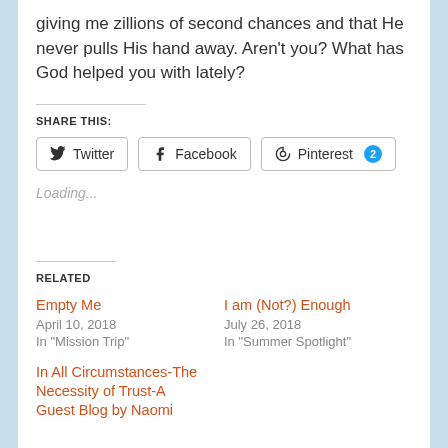giving me zillions of second chances and that He never pulls His hand away. Aren't you? What has God helped you with lately?
SHARE THIS:
Twitter  Facebook  Pinterest 2
Loading...
RELATED
Empty Me
April 10, 2018
In "Mission Trip"
I am (Not?) Enough
July 26, 2018
In "Summer Spotlight"
In All Circumstances-The Necessity of Trust-A Guest Blog by Naomi